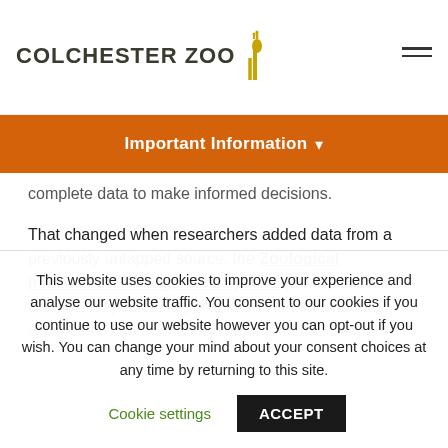[Figure (logo): Colchester Zoo logo with giraffe illustration]
Important Information ▾
complete data to make informed decisions.
That changed when researchers added data from a previously untapped source, the Zoological Information Management System (ZIMS). Across classes of species, key blanks fill with salient data. Colchester Zoo records their animal data in ZIMS
This website uses cookies to improve your experience and analyse our website traffic. You consent to our cookies if you continue to use our website however you can opt-out if you wish. You can change your mind about your consent choices at any time by returning to this site.
Cookie settings  ACCEPT